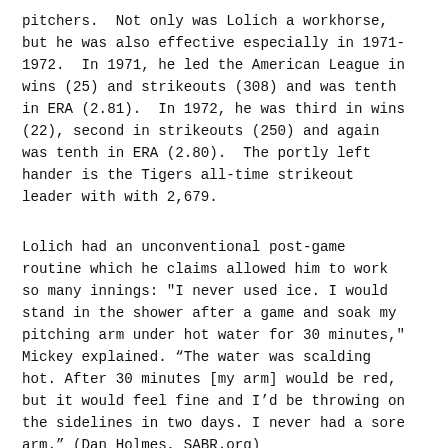pitchers.  Not only was Lolich a workhorse, but he was also effective especially in 1971-1972.  In 1971, he led the American League in wins (25) and strikeouts (308) and was tenth in ERA (2.81).  In 1972, he was third in wins (22), second in strikeouts (250) and again was tenth in ERA (2.80).  The portly left hander is the Tigers all-time strikeout leader with with 2,679.
Lolich had an unconventional post-game routine which he claims allowed him to work so many innings: "I never used ice. I would stand in the shower after a game and soak my pitching arm under hot water for 30 minutes," Mickey explained. “The water was scalding hot. After 30 minutes [my arm] would be red, but it would feel fine and I’d be throwing on the sidelines in two days. I never had a sore arm.” (Dan Holmes, SABR.org)